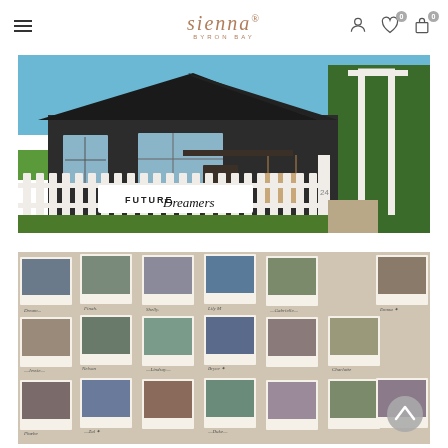Sienna Byron Bay — navigation header with logo, hamburger menu, account icon, wishlist icon (0), cart icon (0)
[Figure (photo): Exterior of Future Dreamers store in Byron Bay — a dark weatherboard cottage with white picket fence. A large white sign on the fence reads 'Future Dreamers' in mixed print and script lettering. Number 24 visible on gate post. White timber pergola entrance on right. Sunny day with blue sky.]
[Figure (photo): Interior wall covered in a grid of polaroid-style photographs of people (customers or community members), each photo accompanied by a handwritten name tag beneath it. Wall is light beige/tan colour.]